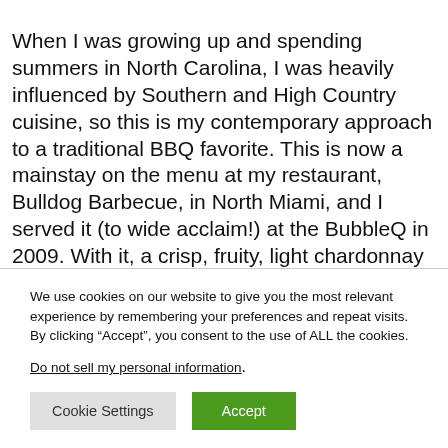When I was growing up and spending summers in North Carolina, I was heavily influenced by Southern and High Country cuisine, so this is my contemporary approach to a traditional BBQ favorite. This is now a mainstay on the menu at my restaurant, Bulldog Barbecue, in North Miami, and I served it (to wide acclaim!) at the BubbleQ in 2009. With it, a crisp, fruity, light chardonnay would be ideal.
We use cookies on our website to give you the most relevant experience by remembering your preferences and repeat visits. By clicking “Accept”, you consent to the use of ALL the cookies.
Do not sell my personal information.